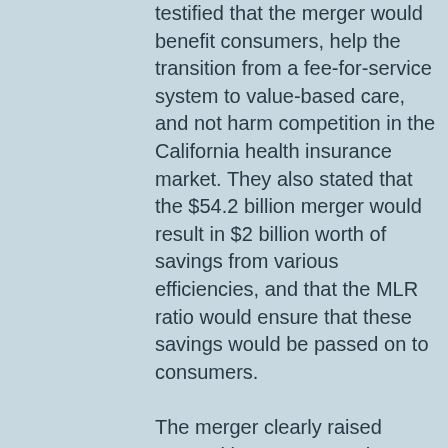testified that the merger would benefit consumers, help the transition from a fee-for-service system to value-based care, and not harm competition in the California health insurance market. They also stated that the $54.2 billion merger would result in $2 billion worth of savings from various efficiencies, and that the MLR ratio would ensure that these savings would be passed on to consumers.
The merger clearly raised competitive concerns. The combined Anthem-Cigna company would have over 60% market share of the administrative-services-only (ASO) market. The merging parties disputed that but they could not provide alternate numbers. Additionally, the